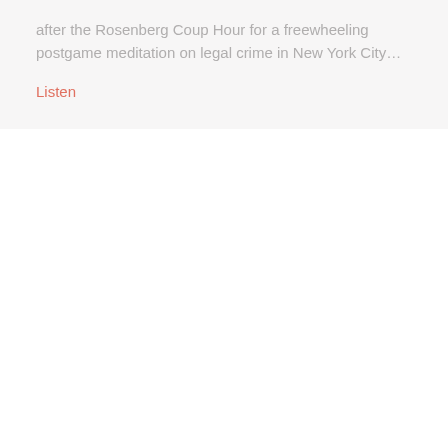after the Rosenberg Coup Hour for a freewheeling postgame meditation on legal crime in New York City…
Listen